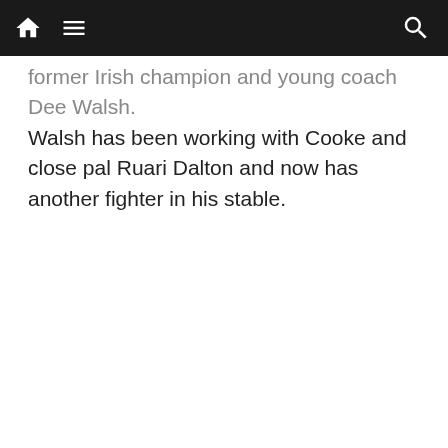Navigation bar with home, menu, and search icons
former Irish champion and young coach Dee Walsh. Walsh has been working with Cooke and close pal Ruari Dalton and now has another fighter in his stable.